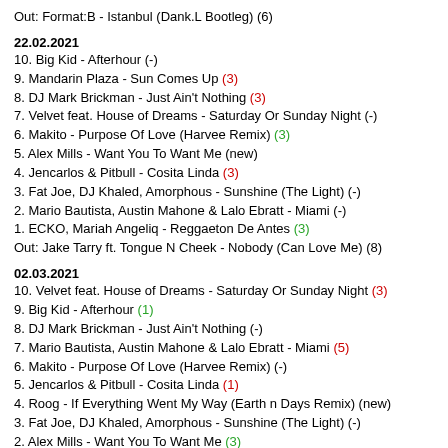Out: Format:B - Istanbul (Dank.L Bootleg) (6)
22.02.2021
10. Big Kid - Afterhour (-)
9. Mandarin Plaza - Sun Comes Up (3)
8. DJ Mark Brickman - Just Ain't Nothing (3)
7. Velvet feat. House of Dreams - Saturday Or Sunday Night (-)
6. Makito - Purpose Of Love (Harvee Remix) (3)
5. Alex Mills - Want You To Want Me (new)
4. Jencarlos & Pitbull - Cosita Linda (3)
3. Fat Joe, DJ Khaled, Amorphous - Sunshine (The Light) (-)
2. Mario Bautista, Austin Mahone & Lalo Ebratt - Miami (-)
1. ECKO, Mariah Angeliq - Reggaeton De Antes (3)
Out: Jake Tarry ft. Tongue N Cheek - Nobody (Can Love Me) (8)
02.03.2021
10. Velvet feat. House of Dreams - Saturday Or Sunday Night (3)
9. Big Kid - Afterhour (1)
8. DJ Mark Brickman - Just Ain't Nothing (-)
7. Mario Bautista, Austin Mahone & Lalo Ebratt - Miami (5)
6. Makito - Purpose Of Love (Harvee Remix) (-)
5. Jencarlos & Pitbull - Cosita Linda (1)
4. Roog - If Everything Went My Way (Earth n Days Remix) (new)
3. Fat Joe, DJ Khaled, Amorphous - Sunshine (The Light) (-)
2. Alex Mills - Want You To Want Me (3)
1. ECKO, Mariah Angeliq - Reggaeton De Antes (-)
Out: Mandarin Plaza - Sun Comes Up (9)
12.03.2021
10. Velvet feat. House of Dreams - Saturday Or Sunday Night (-)